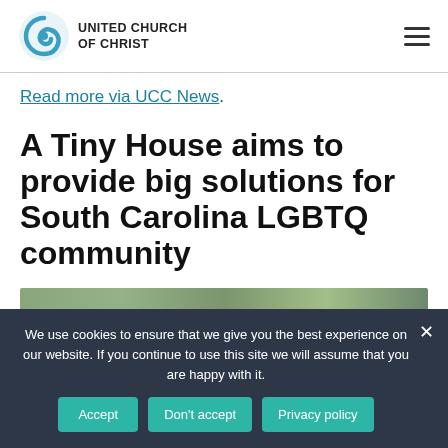[Figure (logo): United Church of Christ logo with blue spiral graphic and text]
Read more via UCC News.
A Tiny House aims to provide big solutions for South Carolina LGBTQ community
[Figure (photo): Partial view of a building or house exterior with green foliage]
We use cookies to ensure that we give you the best experience on our website. If you continue to use this site we will assume that you are happy with it.